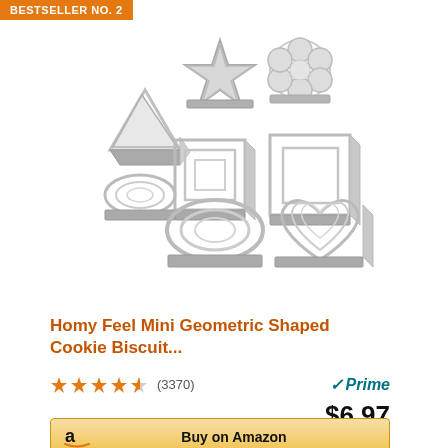BESTSELLER NO. 2
[Figure (photo): Set of stainless steel mini geometric shaped cookie cutters including stars, flowers, squares, circles, hearts, and diamond shapes arranged on a white background]
Homy Feel Mini Geometric Shaped Cookie Biscuit...
★★★★½ (3370)   ✓Prime
$6.97
Buy on Amazon